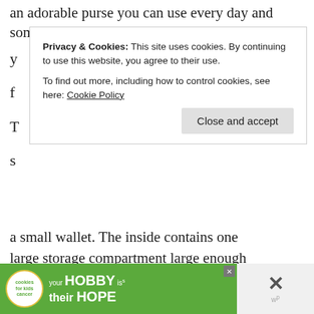an adorable purse you can use every day and some new skills
[Figure (screenshot): Privacy & Cookies banner overlay with close button]
a small wallet. The inside contains one large storage compartment large enough for everything else you'll need during the day. See the full tutorial by clicking here!
[Figure (photo): Gray placeholder image of a purse/bag tutorial photo]
[Figure (screenshot): What's Next panel: How to Sew a Drawstring...]
[Figure (screenshot): Advertisement banner: your HOBBY is their HOPE - cookies for kids cancer]